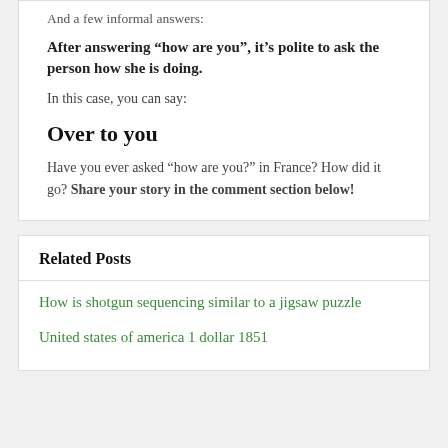And a few informal answers:
After answering “how are you”, it’s polite to ask the person how she is doing.
In this case, you can say:
Over to you
Have you ever asked “how are you?” in France? How did it go? Share your story in the comment section below!
Related Posts
How is shotgun sequencing similar to a jigsaw puzzle
United states of america 1 dollar 1851